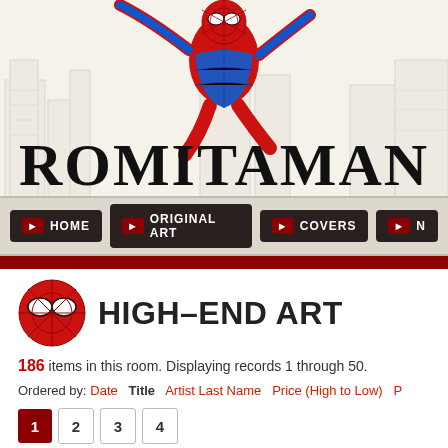[Figure (logo): Romitaman website header with Spider-Man illustration, city sketch background, large serif logo text ROMITAMAN and subtitle YOUR FRIENDLY NEIGHBORHOOD ART DEALER]
ROMITAMAN — YOUR FRIENDLY NEIGHBORHOOD ART DEALER
[Figure (screenshot): Navigation bar with HOME, ORIGINAL ART, COVERS menu buttons on beige background]
[Figure (illustration): Spider-Man face icon (red mask) next to HIGH-END ART heading]
HIGH-END ART
186 items in this room. Displaying records 1 through 50.
Ordered by: Date  Title  Artist Last Name  Price (High to Low)  P
1  2  3  4